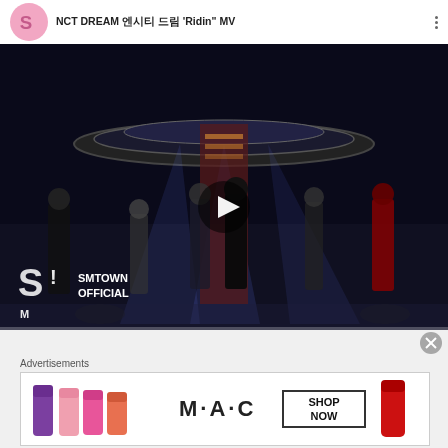[Figure (screenshot): YouTube video player showing NCT DREAM 엔시티 드림 'Ridin' MV music video thumbnail with SMTOWN OFFICIAL channel icon. Six male K-pop performers on stage with dramatic lighting, motorcycles in background. Play button overlay in center. SMTOWN OFFICIAL logo in bottom-left corner.]
Advertisements
[Figure (photo): MAC Cosmetics advertisement banner showing colorful lipsticks (purple, pink, coral) on left, MAC logo in center, and SHOP NOW button with red lipstick on right.]